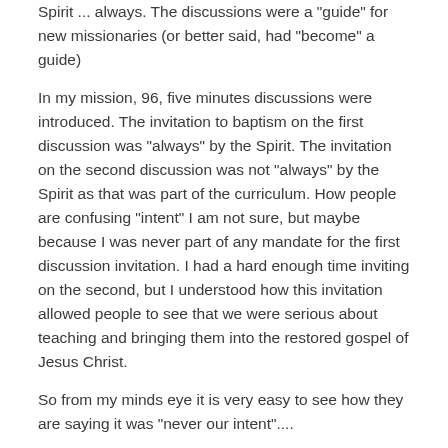Spirit ... always. The discussions were a "guide" for new missionaries (or better said, had "become" a guide)
In my mission, 96, five minutes discussions were introduced. The invitation to baptism on the first discussion was "always" by the Spirit. The invitation on the second discussion was not "always" by the Spirit as that was part of the curriculum. How people are confusing "intent" I am not sure, but maybe because I was never part of any mandate for the first discussion invitation. I had a hard enough time inviting on the second, but I understood how this invitation allowed people to see that we were serious about teaching and bringing them into the restored gospel of Jesus Christ.
So from my minds eye it is very easy to see how they are saying it was "never our intent"....
Although, this whole discussion does cause me to ponder what my oldest son is currently learning in the MTC right now. The moment I am able to speak with him, hopefully will catch his Hangout call this time, I will ask him about this.
Edited July 9, 2019 by Anddenex